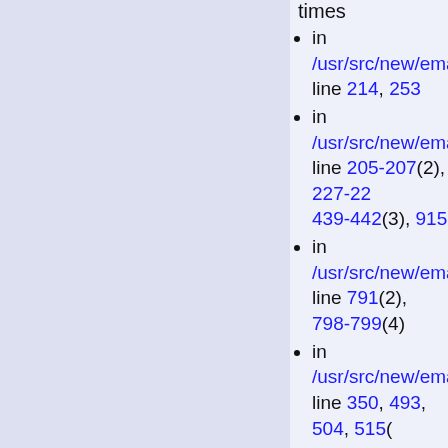times
in /usr/src/new/emacs/src/... line 214, 253
in /usr/src/new/emacs/src/... line 205-207(2), 227-22... 439-442(3), 915
in /usr/src/new/emacs/src/... line 791(2), 798-799(4)
in /usr/src/new/emacs/src/... line 350, 493, 504, 515(
in /usr/src/new/emacs/src/... line 45, 181-183(2)
in /usr/src/new/emacs/src/... line 42, 67, 88, 131, 151... 152(2), 173-185(5), 204... 220, 250, 274
in /usr/src/new/emacs/src/... line 165, 483, 799, 824,